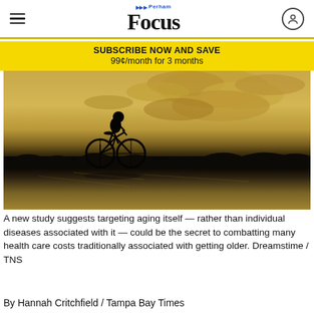Perham Focus
SUBSCRIBE NOW AND SAVE
99¢/month for 3 months
[Figure (photo): Sepia-toned silhouette of a person riding a bicycle along a waterfront at sunset, with dramatic clouds reflected in the water below]
A new study suggests targeting aging itself — rather than individual diseases associated with it — could be the secret to combatting many health care costs traditionally associated with getting older. Dreamstime / TNS
By Hannah Critchfield / Tampa Bay Times